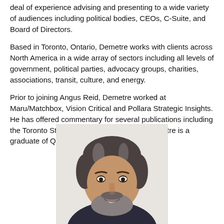deal of experience advising and presenting to a wide variety of audiences including political bodies, CEOs, C-Suite, and Board of Directors.
Based in Toronto, Ontario, Demetre works with clients across North America in a wide array of sectors including all levels of government, political parties, advocacy groups, charities, associations, transit, culture, and energy.
Prior to joining Angus Reid, Demetre worked at Maru/Matchbox, Vision Critical and Pollara Strategic Insights. He has offered commentary for several publications including the Toronto Star and the Globe and Mail. Demetre is a graduate of Queen's University.
[Figure (photo): Headshot of a middle-aged man with grey-streaked dark hair and a beard, smiling, wearing a dark suit, photographed against a light background.]